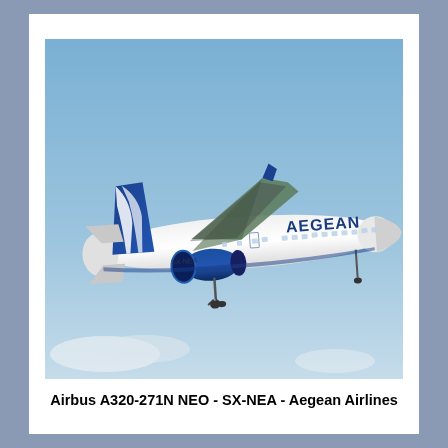[Figure (photo): Photograph of an Aegean Airlines Airbus A320-271N NEO aircraft with registration SX-NEA in flight against a blue sky. The aircraft is white with a blue tail featuring the Aegean Airlines logo (stylized wing/wave design), blue engine nacelles, and 'AEGEAN' written on the fuselage. Landing gear is partially visible.]
Airbus A320-271N NEO - SX-NEA - Aegean Airlines